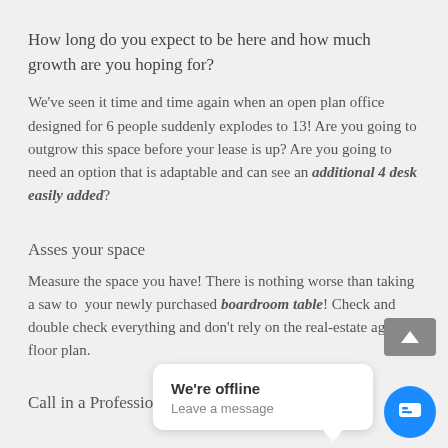How long do you expect to be here and how much growth are you hoping for?
We've seen it time and time again when an open plan office designed for 6 people suddenly explodes to 13! Are you going to outgrow this space before your lease is up? Are you going to need an option that is adaptable and can see an additional 4 desk easily added?
Asses your space
Measure the space you have! There is nothing worse than taking a saw to your newly purchased boardroom table! Check and double check everything and don't rely on the real-estate agents floor plan.
Call in a Professional
[Figure (screenshot): Chat widget overlay showing 'We're offline / Leave a message' popup bubble and a blue chat button, plus a grey scroll-to-top button]